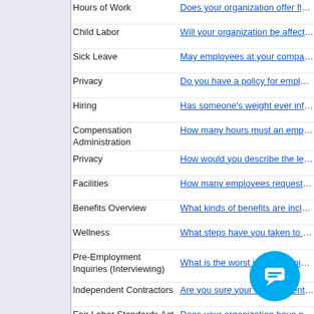Hours of Work | Does your organization offer flex...
Child Labor | Will your organization be affected...
Sick Leave | May employees at your company...
Privacy | Do you have a policy for employe...
Hiring | Has someone's weight ever influ...
Compensation Administration | How many hours must an employ...
Privacy | How would you describe the leve...
Facilities | How many employees request br...
Benefits Overview | What kinds of benefits are includ...
Wellness | What steps have you taken to pro...
Pre-Employment Inquiries (Interviewing) | What is the worst interview mista...
Independent Contractors | Are you sure your independent c...
Fair Labor Standards Act (FLSA) | Does your organization have pai...
Safety and Health | Does your organization observe h...
Performance Appraisal | Who's more likely to get a promo...
Turnover | Do you think your ... in is...
Healthcare Insurance | To what degree wi... hcar...
Hiring | How important is it that applicant...